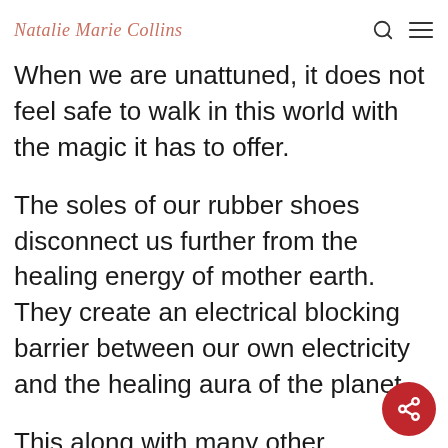Natalie Marie Collins
When we are unattuned, it does not feel safe to walk in this world with the magic it has to offer.
The soles of our rubber shoes disconnect us further from the healing energy of mother earth. They create an electrical blocking barrier between our own electricity and the healing aura of the planet.
This along with many other factors, such as electronics, fast-paced lives, stress, not knowing who we are, etc., has caused our nervous systems to fry and fray around the edges, which causes us to feel frazzled and ultimately